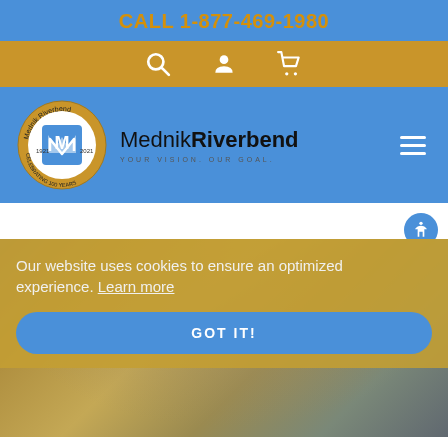CALL 1-877-469-1980
[Figure (screenshot): Icon navigation bar with search, account, and cart icons on golden background]
[Figure (logo): MednikRiverbend 100 years anniversary badge logo]
MednikRiverbend
YOUR VISION. OUR GOAL.
Our website uses cookies to ensure an optimized experience. Learn more
GOT IT!